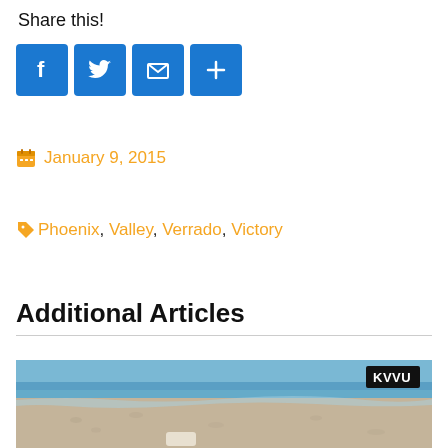Share this!
[Figure (infographic): Four social sharing buttons: Facebook (blue), Twitter (blue), Email (blue), More/plus (blue)]
January 9, 2015
Phoenix, Valley, Verrado, Victory
Additional Articles
[Figure (photo): Beach scene with sand and water near shoreline. KVVU logo badge in top right corner.]